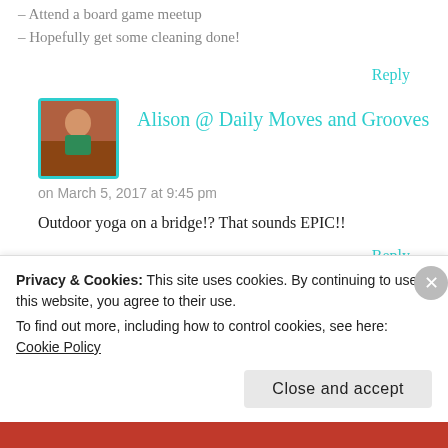– Attend a board game meetup
– Hopefully get some cleaning done!
Reply
Alison @ Daily Moves and Grooves
on March 5, 2017 at 9:45 pm
Outdoor yoga on a bridge!? That sounds EPIC!!
Reply
Privacy & Cookies: This site uses cookies. By continuing to use this website, you agree to their use.
To find out more, including how to control cookies, see here: Cookie Policy
Close and accept